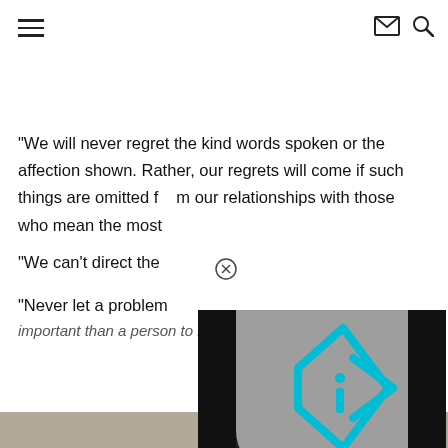≡  ✉  🔍
“We will never regret the kind words spoken or the affection shown.  Rather, our regrets will come if such things are omitted from our relationships with those who mean the most
“We can’t direct the
“Never let a problem
important than a person to be loved.
[Figure (screenshot): Video player overlay with grey background, black side bars, and a cyan/turquoise play button triangle logo in center]